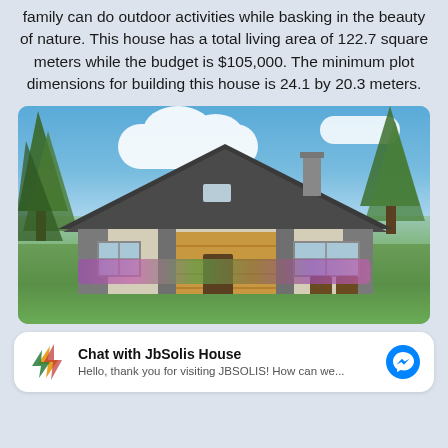family can do outdoor activities while basking in the beauty of nature. This house has a total living area of 122.7 square meters while the budget is $105,000. The minimum plot dimensions for building this house is 24.1 by 20.3 meters.
[Figure (photo): Exterior rendering of a modern bungalow house with gray angular roof, wood panel and stone facade, white walls, surrounded by tall pine trees, flowering landscaping, blue sky with white clouds.]
Chat with JbSolis House
Hello, thank you for visiting JBSOLIS! How can we...